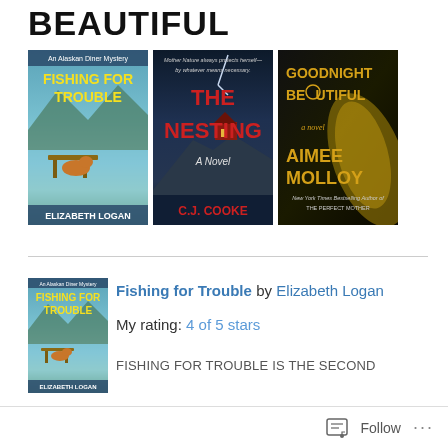BEAUTIFUL
[Figure (photo): Three book covers side by side: 'Fishing for Trouble' by Elizabeth Logan, 'The Nesting' by C.J. Cooke, and 'Goodnight Beautiful' by Aimee Molloy]
[Figure (photo): Book cover for 'Fishing for Trouble' by Elizabeth Logan]
Fishing for Trouble by Elizabeth Logan
My rating: 4 of 5 stars
FISHING FOR TROUBLE is the second
Follow